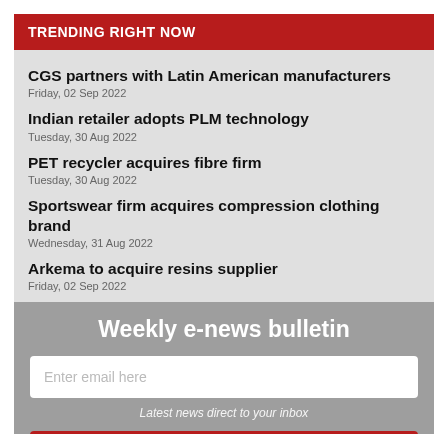TRENDING RIGHT NOW
CGS partners with Latin American manufacturers
Friday, 02 Sep 2022
Indian retailer adopts PLM technology
Tuesday, 30 Aug 2022
PET recycler acquires fibre firm
Tuesday, 30 Aug 2022
Sportswear firm acquires compression clothing brand
Wednesday, 31 Aug 2022
Arkema to acquire resins supplier
Friday, 02 Sep 2022
Weekly e-news bulletin
Enter email here
Latest news direct to your inbox
Register